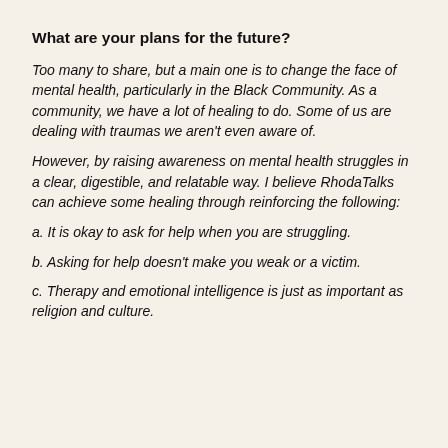What are your plans for the future?
Too many to share, but a main one is to change the face of mental health, particularly in the Black Community. As a community, we have a lot of healing to do. Some of us are dealing with traumas we aren't even aware of.
However, by raising awareness on mental health struggles in a clear, digestible, and relatable way. I believe RhodaTalks can achieve some healing through reinforcing the following:
a. It is okay to ask for help when you are struggling.
b. Asking for help doesn't make you weak or a victim.
c. Therapy and emotional intelligence is just as important as religion and culture.